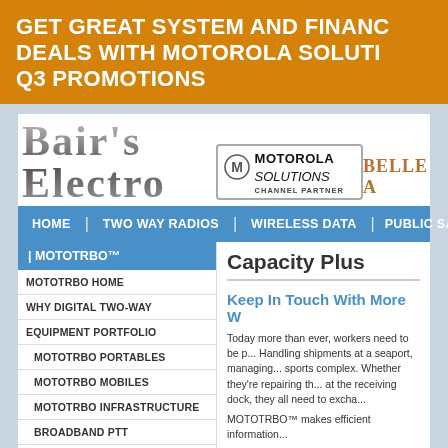GET GREAT SYSTEM AND FINANCIAL DEALS WITH MOTOROLA SOLUTIONS Q3 PROMOTIONS
[Figure (logo): Bair's Electronics logo with Motorola Solutions Channel Partner badge]
HOME | TWO WAY RADIOS | WIRELESS DATA | PUBLIC SAF...
| MOTOTRBO™
MOTOTRBO HOME
WHY DIGITAL TWO-WAY
EQUIPMENT PORTFOLIO
MOTOTRBO PORTABLES
MOTOTRBO MOBILES
MOTOTRBO INFRASTRUCTURE
BROADBAND PTT
Capacity Plus
Keep In Touch With More W...
Today more than ever, workers need to be p... Handling shipments at a seaport, managing... sports complex. Whether they're repairing th... at the receiving dock, they all need to excha...
MOTOTRBO™ makes efficient information...